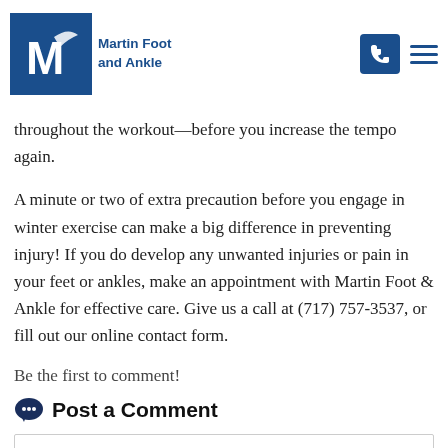Martin Foot and Ankle
nt. Pause for more than a minute or two, you may want to do quick use of dynamic stretches again—multiple times throughout the workout—before you increase the tempo again.
A minute or two of extra precaution before you engage in winter exercise can make a big difference in preventing injury! If you do develop any unwanted injuries or pain in your feet or ankles, make an appointment with Martin Foot & Ankle for effective care. Give us a call at (717) 757-3537, or fill out our online contact form.
Be the first to comment!
Post a Comment